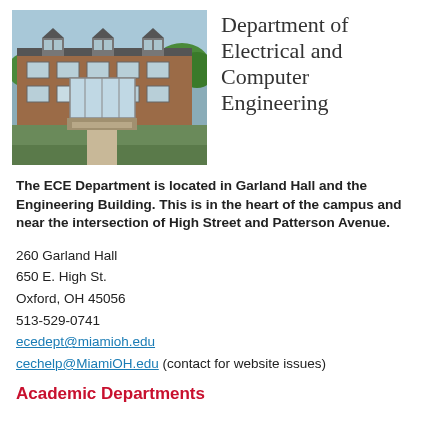[Figure (photo): Exterior photo of a brick university building (Garland Hall / Engineering Building) with multiple windows and green landscaping in the foreground.]
Department of Electrical and Computer Engineering
The ECE Department is located in Garland Hall and the Engineering Building. This is in the heart of the campus and near the intersection of High Street and Patterson Avenue.
260 Garland Hall
650 E. High St.
Oxford, OH 45056
513-529-0741
ecedept@miamioh.edu
cechelp@MiamiOH.edu (contact for website issues)
Academic Departments